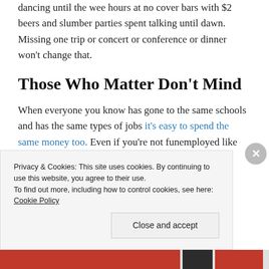dancing until the wee hours at no cover bars with $2 beers and slumber parties spent talking until dawn. Missing one trip or concert or conference or dinner won't change that.
Those Who Matter Don't Mind
When everyone you know has gone to the same schools and has the same types of jobs it's easy to spend the same money too. Even if you're not funemployed like me, you likely have financial goals th...
Privacy & Cookies: This site uses cookies. By continuing to use this website, you agree to their use.
To find out more, including how to control cookies, see here: Cookie Policy